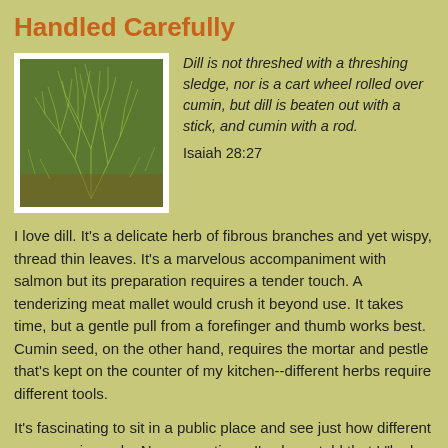Handled Carefully
[Figure (photo): Close-up photo of dill herb with wispy green feathery fronds]
Dill is not threshed with a threshing sledge, nor is a cart wheel rolled over cumin, but dill is beaten out with a stick, and cumin with a rod.
Isaiah 28:27
I love dill. It's a delicate herb of fibrous branches and yet wispy, thread thin leaves. It's a marvelous accompaniment with salmon but its preparation requires a tender touch. A tenderizing meat mallet would crush it beyond use. It takes time, but a gentle pull from a forefinger and thumb works best. Cumin seed, on the other hand, requires the mortar and pestle that's kept on the counter of my kitchen--different herbs require different tools.
It's fascinating to sit in a public place and see just how different everyone is made. Numerous times I've been told that I "look just like. . ." but, it remains that I am still unique -